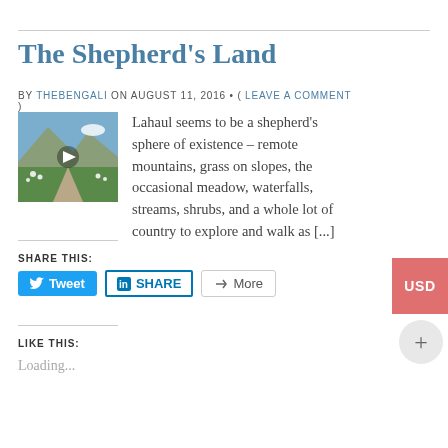The Shepherd’s Land
BY THEBENGALI ON AUGUST 11, 2016 • ( LEAVE A COMMENT )
[Figure (photo): Mountain valley scene with green slopes, sheep grazing, and a play button overlay indicating a video thumbnail]
Lahaul seems to be a shepherd’s sphere of existence – remote mountains, grass on slopes, the occasional meadow, waterfalls, streams, shrubs, and a whole lot of country to explore and walk as [...]
SHARE THIS:
Tweet  SHARE  More
LIKE THIS:
Loading...